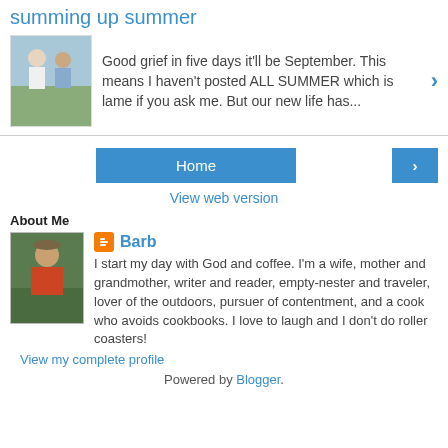summing up summer
Good grief in five days it'll be September. This means I haven't posted ALL SUMMER which is lame if you ask me. But our new life has...
[Figure (photo): Two people standing outdoors, appears to be an older couple]
Home
View web version
About Me
[Figure (photo): Person sitting outdoors wearing red, casual portrait photo]
Barb
I start my day with God and coffee. I'm a wife, mother and grandmother, writer and reader, empty-nester and traveler, lover of the outdoors, pursuer of contentment, and a cook who avoids cookbooks. I love to laugh and I don't do roller coasters!
View my complete profile
Powered by Blogger.